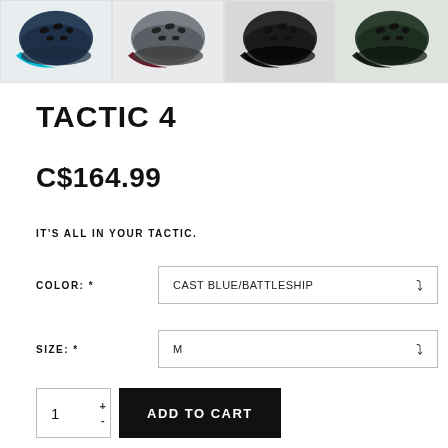[Figure (photo): Four bicycle helmets shown in different color variants: blue/teal, grey/maroon, dark grey/black, and green/dark green]
TACTIC 4
C$164.99
IT'S ALL IN YOUR TACTIC.
COLOR: * CAST BLUE/BATTLESHIP
SIZE: * M
1 ADD TO CART